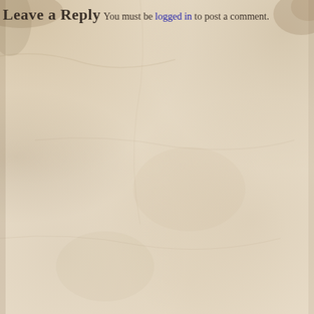Leave a Reply
You must be logged in to post a comment.